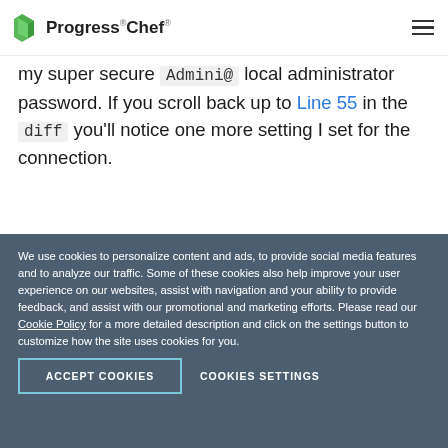Progress Chef
my super secure Admini@ local administrator password. If you scroll back up to Line 55 in the diff you'll notice one more setting I set for the connection.
[Figure (screenshot): Code block showing: + https = false]
We use cookies to personalize content and ads, to provide social media features and to analyze our traffic. Some of these cookies also help improve your user experience on our websites, assist with navigation and your ability to provide feedback, and assist with our promotional and marketing efforts. Please read our Cookie Policy for a more detailed description and click on the settings button to customize how the site uses cookies for you.
ACCEPT COOKIES | COOKIES SETTINGS